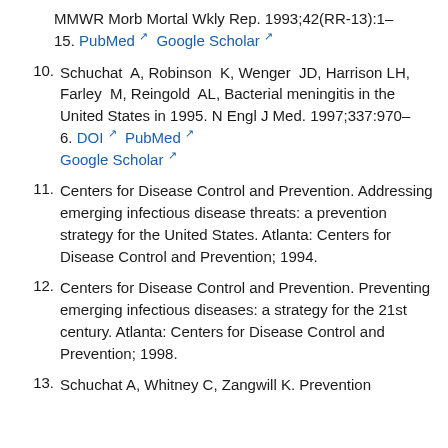MMWR Morb Mortal Wkly Rep. 1993;42(RR-13):1–15. PubMed  Google Scholar
10. Schuchat A, Robinson K, Wenger JD, Harrison LH, Farley M, Reingold AL, Bacterial meningitis in the United States in 1995. N Engl J Med. 1997;337:970–6. DOI  PubMed  Google Scholar
11. Centers for Disease Control and Prevention. Addressing emerging infectious disease threats: a prevention strategy for the United States. Atlanta: Centers for Disease Control and Prevention; 1994.
12. Centers for Disease Control and Prevention. Preventing emerging infectious diseases: a strategy for the 21st century. Atlanta: Centers for Disease Control and Prevention; 1998.
13. Schuchat A, Whitney C, Zangwill K. Prevention